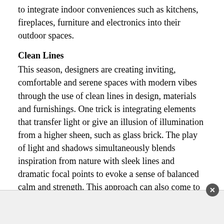to integrate indoor conveniences such as kitchens, fireplaces, furniture and electronics into their outdoor spaces.
Clean Lines
This season, designers are creating inviting, comfortable and serene spaces with modern vibes through the use of clean lines in design, materials and furnishings. One trick is integrating elements that transfer light or give an illusion of illumination from a higher sheen, such as glass brick. The play of light and shadows simultaneously blends inspiration from nature with sleek lines and dramatic focal points to evoke a sense of balanced calm and strength. This approach can also come to life through ceiling windows, furnishings and the use of stone, brick and wood on statement walls or accents.
For more on-trend design ideas for your home, visit